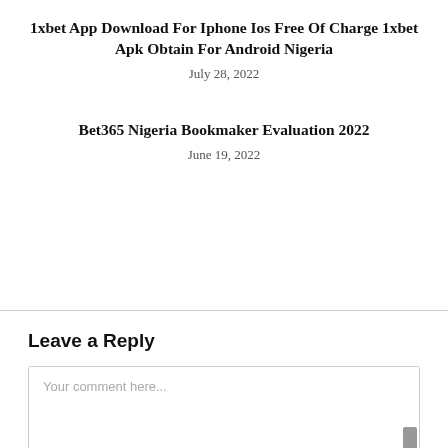1xbet App Download For Iphone Ios Free Of Charge 1xbet Apk Obtain For Android Nigeria
July 28, 2022
Bet365 Nigeria Bookmaker Evaluation 2022
June 19, 2022
Leave a Reply
Your comment here...